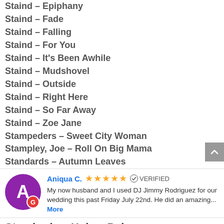Staind – Epiphany
Staind – Fade
Staind – Falling
Staind – For You
Staind – It's Been Awhile
Staind – Mudshovel
Staind – Outside
Staind – Right Here
Staind – So Far Away
Staind – Zoe Jane
Stampeders – Sweet City Woman
Stampley, Joe – Roll On Big Mama
Standards – Autumn Leaves
Aniqua C. ★★★★★ VERIFIED
My now husband and I used DJ Jimmy Rodriguez for our wedding this past Friday July 22nd. He did an amazing...
More
Standards – Hokey Pokey